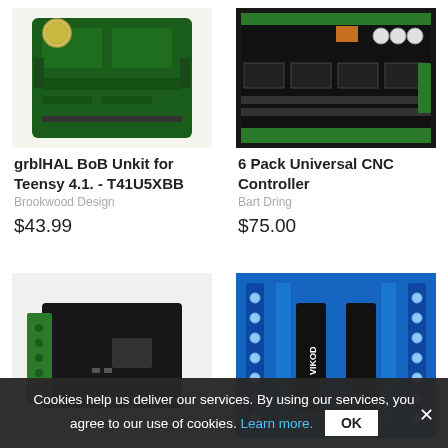[Figure (photo): Green PCB circuit board (grblHAL BoB Unkit for Teensy 4.1) with a euro coin for scale, on white background]
grblHAL BoB Unkit for Teensy 4.1. - T41U5XBB
Brookwood Design
$43.99
[Figure (photo): Black CNC controller board with green terminal blocks and multiple driver slots]
6 Pack Universal CNC Controller
Bart Dring
$75.00
[Figure (photo): Small black PCB with green terminal blocks labeled 5V Output V1.1 @bulldog]
[Figure (photo): Blue stepper motor driver board (VIKOD) with black capacitors and silver screw terminals]
Cookies help us deliver our services. By using our services, you agree to our use of cookies. Learn more.